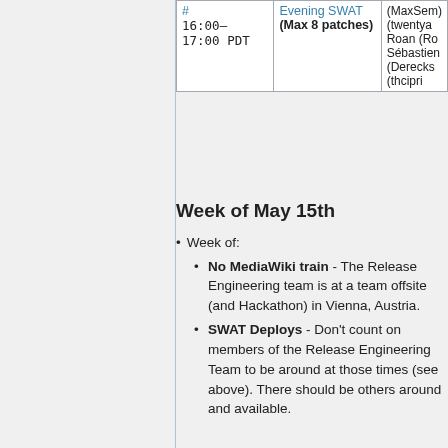| # | Evening SWAT |  |
| --- | --- | --- |
| 16:00–17:00 PDT | (Max 8 patches) | (MaxSem)
(twentya
Roan (Ro
Sébastien
(Derecks
(thcipri |
Week of May 15th
Week of:
No MediaWiki train - The Release Engineering team is at a team offsite (and Hackathon) in Vienna, Austria.
SWAT Deploys - Don't count on members of the Release Engineering Team to be around at those times (see above). There should be others around and available.